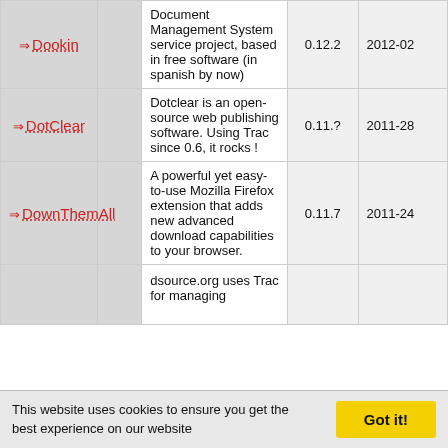| Name |  | Description | Version | Date |
| --- | --- | --- | --- | --- |
| Dookin | ⇒ | Document Management System service project, based in free software (in spanish by now) | 0.12.2 | 2012-02 |
| DotClear | ⇒ | Dotclear is an open-source web publishing software. Using Trac since 0.6, it rocks ! | 0.11.? | 2011-28 |
| DownThemAll | ⇒ | A powerful yet easy-to-use Mozilla Firefox extension that adds new advanced download capabilities to your browser. | 0.11.7 | 2011-24 |
|  |  | dsource.org uses Trac for managing |  |  |
This website uses cookies to ensure you get the best experience on our website